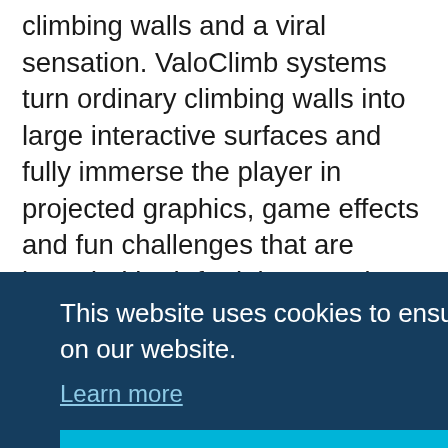climbing walls and a viral sensation. ValoClimb systems turn ordinary climbing walls into large interactive surfaces and fully immerse the player in projected graphics, game effects and fun challenges that are intended both for leisure and serious skill training. ValoClimb systems have been installed in different types of commercial locations such as activity parks, fitness and climbing gyms in 45+ countries. This active play technology invites
This website uses cookies to ensure you get the best experience on our website. Learn more Got it!
beasts. We supercharge climbing with ValoClimb